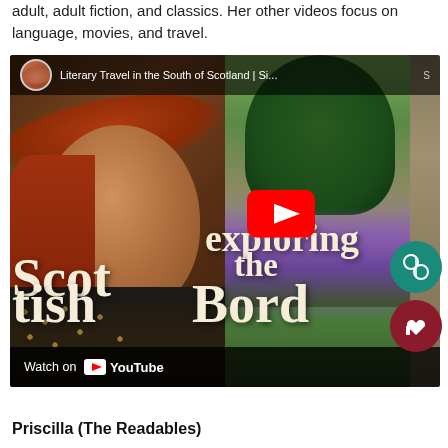adult, adult fiction, and classics. Her other videos focus on language, movies, and travel.
[Figure (screenshot): YouTube video thumbnail for 'Literary Travel in the South of Scotland | Si...' showing a smiling woman outdoors with text overlay 'exploring the Scottish Bord' and a YouTube play button. Includes 'Watch on YouTube' bar at bottom.]
Priscilla (The Readables)